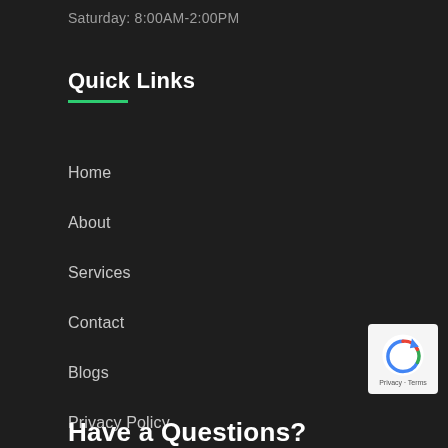Saturday: 8:00AM-2:00PM
Quick Links
Home
About
Services
Contact
Blogs
Privacy Policy
[Figure (logo): Google reCAPTCHA badge with circular arrow icon and 'Privacy - Terms' text]
Have a Questions?